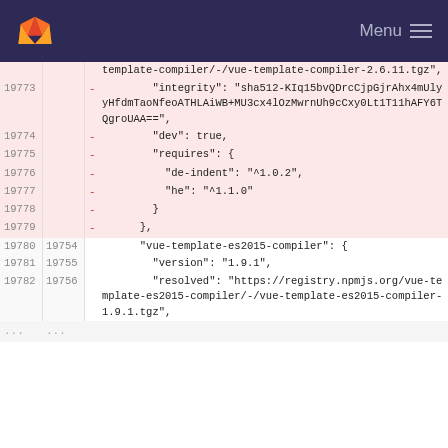GitLab — Menu
Diff view of package-lock.json showing deleted lines 19773-19779 and context lines 19780-19782 with content including vue-template-compiler and vue-template-es2015-compiler package entries.